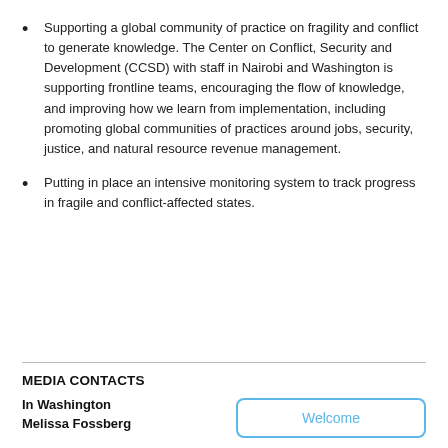Supporting a global community of practice on fragility and conflict to generate knowledge. The Center on Conflict, Security and Development (CCSD) with staff in Nairobi and Washington is supporting frontline teams, encouraging the flow of knowledge, and improving how we learn from implementation, including promoting global communities of practices around jobs, security, justice, and natural resource revenue management.
Putting in place an intensive monitoring system to track progress in fragile and conflict-affected states.
MEDIA CONTACTS
In Washington
Melissa Fossberg